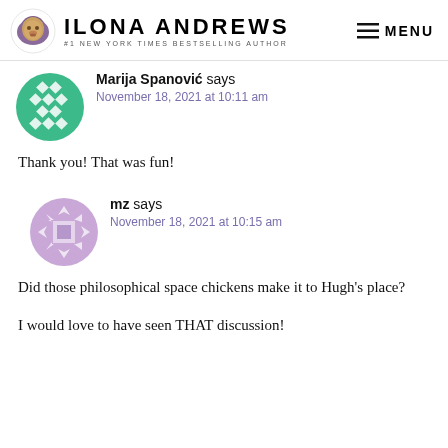Ilona Andrews — #1 New York Times Bestselling Author — MENU
Marija Spanović says
November 18, 2021 at 10:11 am
Thank you! That was fun!
mz says
November 18, 2021 at 10:15 am
Did those philosophical space chickens make it to Hugh's place?

I would love to have seen THAT discussion!